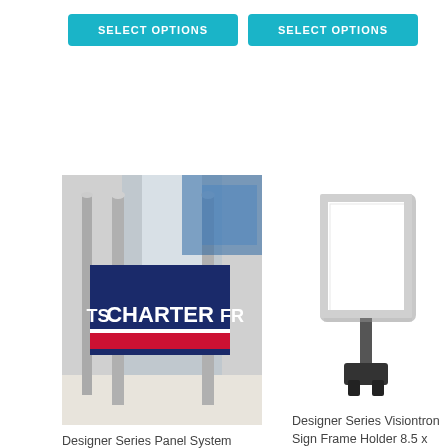[Figure (screenshot): Teal 'SELECT OPTIONS' button on left]
[Figure (screenshot): Teal 'SELECT OPTIONS' button on right]
[Figure (photo): Photo of Designer Series Panel System with CHARTER sign banner between stanchion posts]
Designer Series Panel System
[Figure (photo): Product photo of Designer Series Visiontron Sign Frame Holder 8.5 x 11 with adapter, white frame with black clip base]
Designer Series Visiontron Sign Frame Holder 8.5 x 11 with Adapter